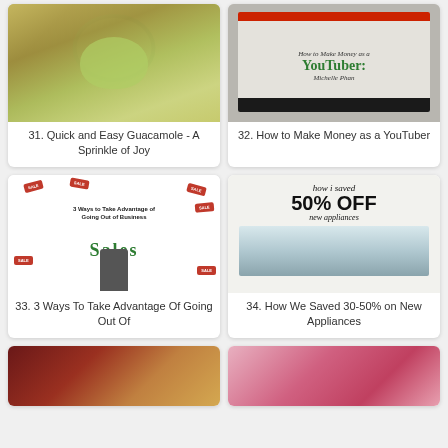[Figure (photo): Photo of guacamole in a bowl with chips]
31. Quick and Easy Guacamole - A Sprinkle of Joy
[Figure (photo): Screenshot-style image: How to Make Money as a YouTuber - Michelle Phan]
32. How to Make Money as a YouTuber
[Figure (photo): 3 Ways to Take Advantage of Going Out of Business SALES - promotional image with sale tags]
33. 3 Ways To Take Advantage Of Going Out Of
[Figure (photo): how i saved 50% OFF new appliances - kitchen image]
34. How We Saved 30-50% on New Appliances
[Figure (photo): Coins image partially visible at bottom left]
[Figure (photo): Smoothie/drink image partially visible at bottom right]